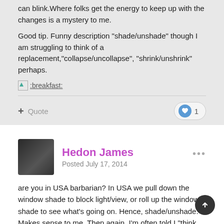can blink.Where folks get the energy to keep up with the changes is a mystery to me.
Good tip. Funny description "shade/unshade" though I am struggling to think of a replacement,"collapse/uncollapse", "shrink/unshrink" perhaps.
[Figure (other): Emoji icon :breakfast:]
Hedon James
Posted July 17, 2014
are you in USA barbarian? In USA we pull down the window shade to block light/view, or roll up the window shade to see what's going on. Hence, shade/unshade. Makes sense to me. Then again, I'm often told I "think weird", so what the heck do I know?